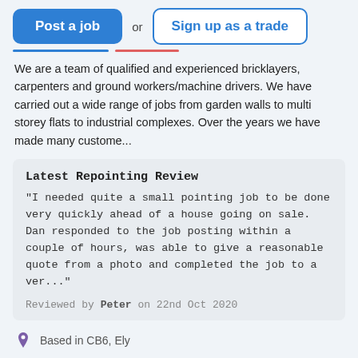[Figure (screenshot): Two call-to-action buttons: 'Post a job' (blue filled) and 'Sign up as a trade' (blue outlined), separated by 'or' text]
We are a team of qualified and experienced bricklayers, carpenters and ground workers/machine drivers. We have carried out a wide range of jobs from garden walls to multi storey flats to industrial complexes. Over the years we have made many custome...
Latest Repointing Review
"I needed quite a small pointing job to be done very quickly ahead of a house going on sale. Dan responded to the job posting within a couple of hours, was able to give a reasonable quote from a photo and completed the job to a ver..."
Reviewed by Peter on 22nd Oct 2020
Based in CB6, Ely
Bricklayer covering Bar Hill
Member since Feb 2020
ID Checked